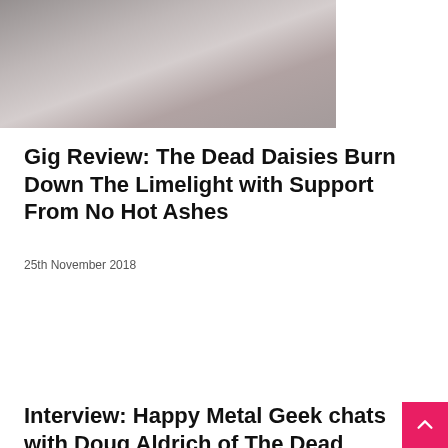[Figure (photo): Partial photograph of band members, cropped at top, with muted/gray tones]
Gig Review: The Dead Daisies Burn Down The Limelight with Support From No Hot Ashes
25th November 2018
Interview: Happy Metal Geek chats with Doug Aldrich of The Dead Daisies